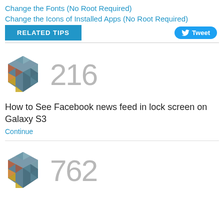Change the Fonts (No Root Required)
Change the Icons of Installed Apps (No Root Required)
RELATED TIPS
[Figure (logo): Twitter Tweet button with bird icon]
[Figure (illustration): Geometric hexagon cube icon made of colorful triangles]
216
How to See Facebook news feed in lock screen on Galaxy S3
Continue
[Figure (illustration): Geometric hexagon cube icon made of colorful triangles]
762